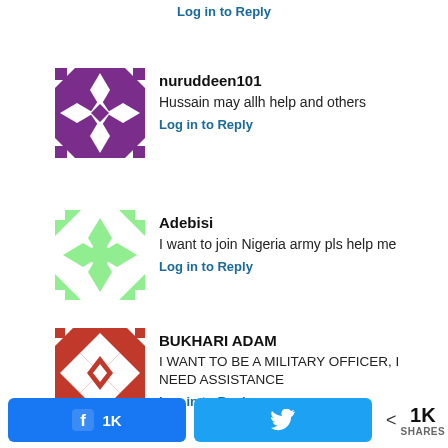Log in to Reply
nuruddeen101
Hussain may allh help and others
Log in to Reply
Adebisi
I want to join Nigeria army pls help me
Log in to Reply
BUKHARI ADAM
I WANT TO BE A MILITARY OFFICER, I NEED ASSISTANCE
Log in to Reply
1K
< 1K SHARES